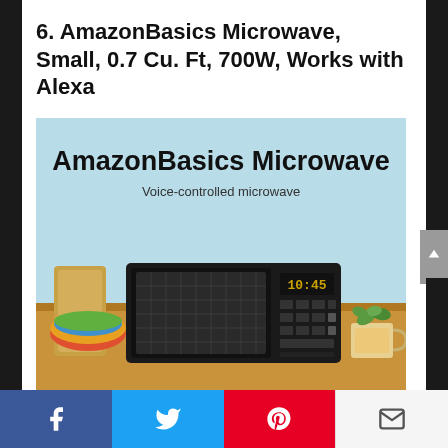6. AmazonBasics Microwave, Small, 0.7 Cu. Ft, 700W, Works with Alexa
[Figure (photo): Product photo of AmazonBasics Microwave on light blue background with text 'AmazonBasics Microwave' and 'Voice-controlled microwave'. Shows a black microwave oven with digital display showing 10:45, kitchen props including cutting board, colorful bowl, and succulent plant.]
Facebook | Twitter | Pinterest | Email